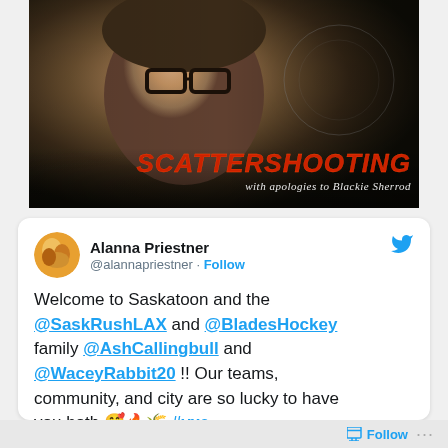[Figure (photo): Black and white photo of an older man with glasses, hand on chin in a thoughtful pose, with text overlay reading 'SCATTERSHOOTING with apologies to Blackie Sherrod']
Alanna Priestner @alannapriestner · Follow
Welcome to Saskatoon and the @SaskRushLAX and @BladesHockey family @AshCallingbull and @WaceyRabbit20 !! Our teams, community, and city are so lucky to have you both 🥰🔥🌾 #yxe
Follow ···